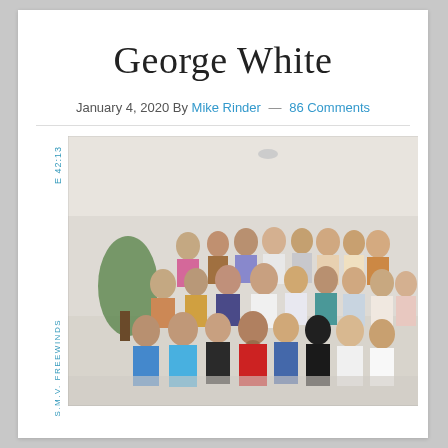George White
January 4, 2020 By Mike Rinder — 86 Comments
[Figure (photo): Group photo of approximately 25-30 people posing together indoors, likely on the S.M.V. Freewinds cruise ship. The photo has a vertical label on the left side reading 'S.M.V. FREEWINDS' and 'E 42:13'. The group includes men and women of various ages, dressed in casual to semi-formal attire from what appears to be the late 1980s or early 1990s.]